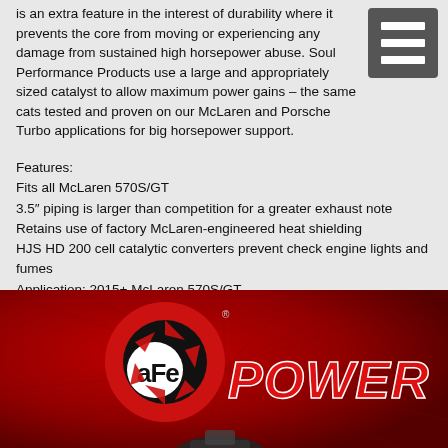is an extra feature in the interest of durability where it prevents the core from moving or experiencing any damage from sustained high horsepower abuse. Soul Performance Products use a large and appropriately sized catalyst to allow maximum power gains – the same cats tested and proven on our McLaren and Porsche Turbo applications for big horsepower support.
Features:
Fits all McLaren 570S/GT
3.5" piping is larger than competition for a greater exhaust note
Retains use of factory McLaren-engineered heat shielding
HJS HD 200 cell catalytic converters prevent check engine lights and fumes
Application: 2015+ McLaren 570S/GT
Part Number:
MCL.570.SCC, SOUL 2015+ McLaren 570S/GT/540C 3.5in Sport Downpipes (w/ 200 Cell Cats)
[Figure (logo): aFe Power logo on dark red background with automotive part visible at bottom]